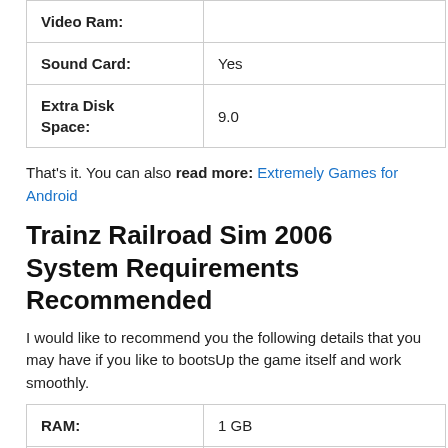|  |  |
| --- | --- |
| Video Ram: |  |
| Sound Card: | Yes |
| Extra Disk Space: | 9.0 |
That's it. You can also read more: Extremely Games for Android
Trainz Railroad Sim 2006 System Requirements Recommended
I would like to recommend you the following details that you may have if you like to bootsUp the game itself and work smoothly.
|  |  |
| --- | --- |
| RAM: | 1 GB |
| CPU: | Pentium 4/Athlon XP or better |